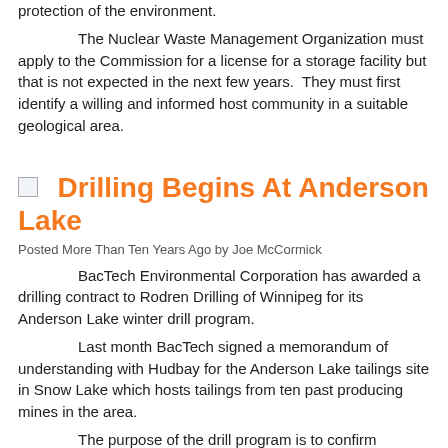protection of the environment.

The Nuclear Waste Management Organization must apply to the Commission for a license for a storage facility but that is not expected in the next few years.  They must first identify a willing and informed host community in a suitable geological area.
Drilling Begins At Anderson Lake
Posted More Than Ten Years Ago by Joe McCormick
BacTech Environmental Corporation has awarded a drilling contract to Rodren Drilling of Winnipeg for its Anderson Lake winter drill program.
Last month BacTech signed a memorandum of understanding with Hudbay for the Anderson Lake tailings site in Snow Lake which hosts tailings from ten past producing mines in the area.
The purpose of the drill program is to confirm...